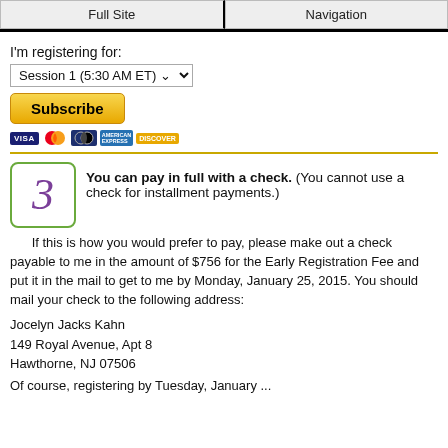Full Site | Navigation
I'm registering for:
Session 1 (5:30 AM ET)
[Figure (other): PayPal Subscribe button with credit card icons (Visa, Mastercard, Maestro, American Express, Discover)]
You can pay in full with a check. (You cannot use a check for installment payments.)
If this is how you would prefer to pay, please make out a check payable to me in the amount of $756 for the Early Registration Fee and put it in the mail to get to me by Monday, January 25, 2015. You should mail your check to the following address:
Jocelyn Jacks Kahn
149 Royal Avenue, Apt 8
Hawthorne, NJ 07506
Of course, registering by Tuesday, January ...